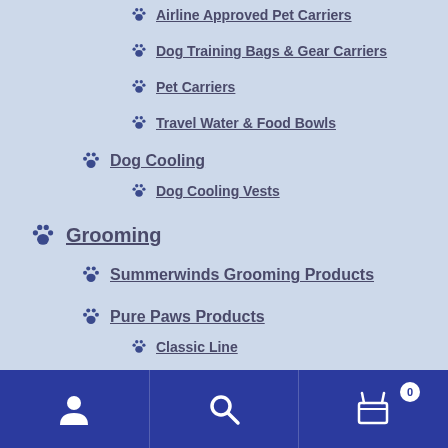Airline Approved Pet Carriers
Dog Training Bags & Gear Carriers
Pet Carriers
Travel Water & Food Bowls
Dog Cooling
Dog Cooling Vests
Grooming
Summerwinds Grooming Products
Pure Paws Products
Classic Line
Star Line
H2O Line